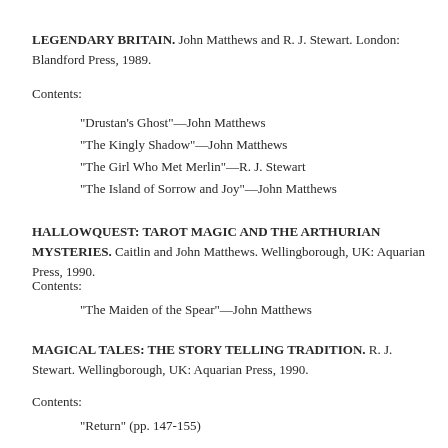LEGENDARY BRITAIN. John Matthews and R. J. Stewart. London: Blandford Press, 1989.
Contents:
"Drustan's Ghost"—John Matthews
"The Kingly Shadow"—John Matthews
"The Girl Who Met Merlin"—R. J. Stewart
"The Island of Sorrow and Joy"—John Matthews
HALLOWQUEST: TAROT MAGIC AND THE ARTHURIAN MYSTERIES. Caitlin and John Matthews. Wellingborough, UK: Aquarian Press, 1990.
Contents:
"The Maiden of the Spear"—John Matthews
MAGICAL TALES: THE STORY TELLING TRADITION. R. J. Stewart. Wellingborough, UK: Aquarian Press, 1990.
Contents:
"Return" (pp. 147-155)